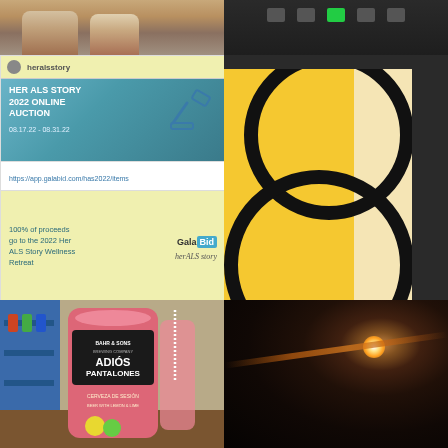[Figure (photo): Photo of people's legs and lower bodies, outdoor setting]
[Figure (screenshot): Screenshot of a video conferencing interface, dark background with toolbar icons]
[Figure (infographic): Her ALS Story 2022 Online Auction card. Header: heralsstory. Blue box: HER ALS STORY 2022 ONLINE AUCTION with hammer icon. Date: 08.17.22 - 08.31.22. URL: https://app.galabid.com/has2022/items. Yellow box: 100% of proceeds go to the 2022 Her ALS Story Wellness Retreat. GalaBid logo. Handwritten signature.]
[Figure (illustration): Abstract art with yellow/gold background and large black curved circle outlines on cream background]
[Figure (photo): Close-up photo of a beer can: Bahr & Sons Brewing Company, Adios Pantalones, Cerveza de Sesion, Beer with Lemon & Lime. Pink/red can on wooden table in colorful bar setting.]
[Figure (photo): Night sky photo with bright sun/light source and beam of light across dark sky]